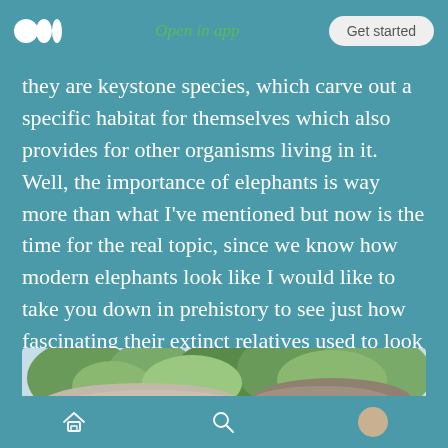Medium logo | Open in app | Get started
they are keystone species, which carve out a specific habitat for themselves which also provides for other organisms living in it. Well, the importance of elephants is way more than what I've mentioned but now is the time for the real topic, since we know how modern elephants look like I would like to take you down in prehistory to see just how fascinating their extinct relatives used to look like.
[Figure (photo): Photo of elephants from behind, showing their backs and the surrounding savanna trees and sky]
Home | Search | Profile navigation icons